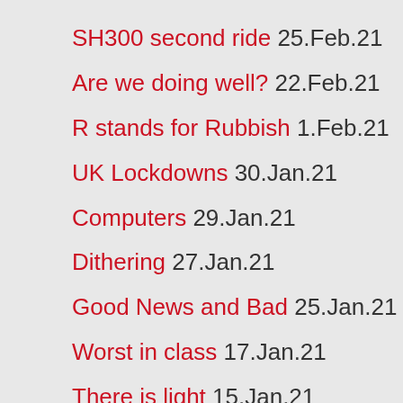SH300 second ride 25.Feb.21
Are we doing well? 22.Feb.21
R stands for Rubbish 1.Feb.21
UK Lockdowns 30.Jan.21
Computers 29.Jan.21
Dithering 27.Jan.21
Good News and Bad 25.Jan.21
Worst in class 17.Jan.21
There is light 15.Jan.21
SH300 first ride 13.Jan.21
A new year begins 11.Jan.21
SH300 first impressions 10.Jan.21